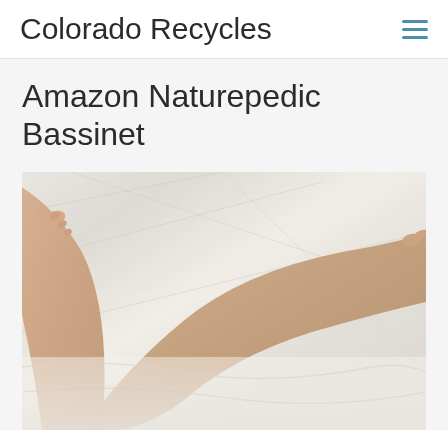Colorado Recycles
Amazon Naturepedic Bassinet
[Figure (photo): A person's bare legs resting on a white rumpled bed sheet, viewed from the side with feet visible at upper left and legs extending diagonally across the frame.]